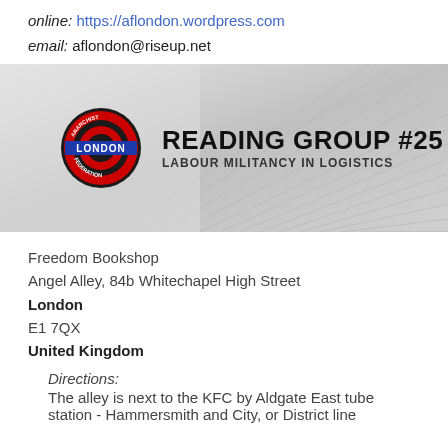online: https://aflondon.wordpress.com
email: aflondon@riseup.net
[Figure (logo): Anarchist Federation London reading group banner with logo and text 'READING GROUP #25 LABOUR MILITANCY IN LOGISTICS' on a grey book pages background]
Freedom Bookshop
Angel Alley, 84b Whitechapel High Street
London
E1 7QX
United Kingdom
Directions:
The alley is next to the KFC by Aldgate East tube station - Hammersmith and City, or District line